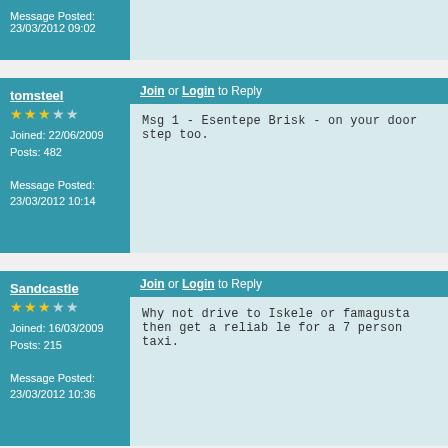Message Posted: 23/03/2012 09:02
Join or Login to Reply
tomsteel
Joined: 22/06/2009
Posts: 482
Message Posted: 23/03/2012 10:14
Msg 1 - Esentepe Brisk - on your door step too.
Join or Login to Reply
Sandcastle
Joined: 16/03/2009
Posts: 215
Message Posted: 23/03/2012 10:36
Why not drive to Iskele or famagusta then get a reliable for a 7 person taxi.